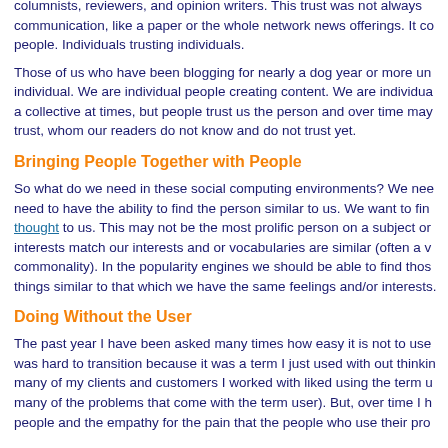columnists, reviewers, and opinion writers. This trust was not always communication, like a paper or the whole network news offerings. It connects people. Individuals trusting individuals.
Those of us who have been blogging for nearly a dog year or more understand individual. We are individual people creating content. We are individuals acting as a collective at times, but people trust us the person and over time may trust, whom our readers do not know and do not trust yet.
Bringing People Together with People
So what do we need in these social computing environments? We need to have the ability to find the person similar to us. We want to find thought to us. This may not be the most prolific person on a subject or interests match our interests and or vocabularies are similar (often a commonality). In the popularity engines we should be able to find those things similar to that which we have the same feelings and/or interests.
Doing Without the User
The past year I have been asked many times how easy it is not to use was hard to transition because it was a term I just used with out thinking many of my clients and customers I worked with liked using the term u many of the problems that come with the term user). But, over time I h people and the empathy for the pain that the people who use their pro